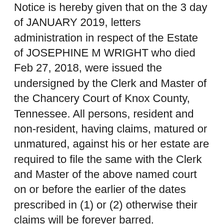Notice is hereby given that on the 3 day of JANUARY 2019, letters administration in respect of the Estate of JOSEPHINE M WRIGHT who died Feb 27, 2018, were issued the undersigned by the Clerk and Master of the Chancery Court of Knox County, Tennessee. All persons, resident and non-resident, having claims, matured or unmatured, against his or her estate are required to file the same with the Clerk and Master of the above named court on or before the earlier of the dates prescribed in (1) or (2) otherwise their claims will be forever barred.
(1)(A) Four (4) months from the date of the first publication of this notice if the creditor received an actual copy of this notice to creditors at least sixty (60) days before the date that is four (4) months from the date of this first publication; or